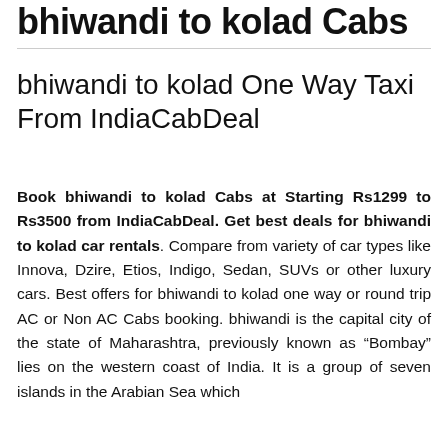bhiwandi to kolad Cabs
bhiwandi to kolad One Way Taxi From IndiaCabDeal
Book bhiwandi to kolad Cabs at Starting Rs1299 to Rs3500 from IndiaCabDeal. Get best deals for bhiwandi to kolad car rentals. Compare from variety of car types like Innova, Dzire, Etios, Indigo, Sedan, SUVs or other luxury cars. Best offers for bhiwandi to kolad one way or round trip AC or Non AC Cabs booking. bhiwandi is the capital city of the state of Maharashtra, previously known as “Bombay” lies on the western coast of India. It is a group of seven islands in the Arabian Sea which